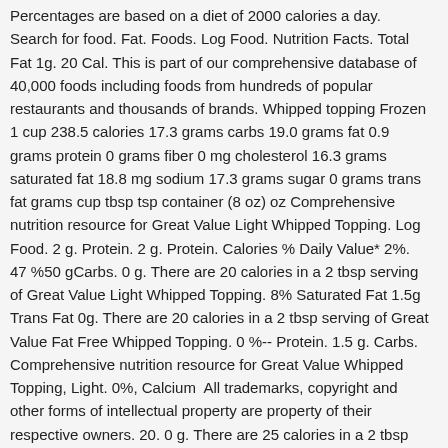Percentages are based on a diet of 2000 calories a day. Search for food. Fat. Foods. Log Food. Nutrition Facts. Total Fat 1g. 20 Cal. This is part of our comprehensive database of 40,000 foods including foods from hundreds of popular restaurants and thousands of brands. Whipped topping Frozen 1 cup 238.5 calories 17.3 grams carbs 19.0 grams fat 0.9 grams protein 0 grams fiber 0 mg cholesterol 16.3 grams saturated fat 18.8 mg sodium 17.3 grams sugar 0 grams trans fat grams cup tbsp tsp container (8 oz) oz Comprehensive nutrition resource for Great Value Light Whipped Topping. Log Food. 2 g. Protein. 2 g. Protein. Calories % Daily Value* 2%. 47 %50 gCarbs. 0 g. There are 20 calories in a 2 tbsp serving of Great Value Light Whipped Topping. 8% Saturated Fat 1.5g Trans Fat 0g. There are 20 calories in a 2 tbsp serving of Great Value Fat Free Whipped Topping. 0 %-- Protein. 1.5 g. Carbs. Comprehensive nutrition resource for Great Value Whipped Topping, Light. 0%, Calcium  All trademarks, copyright and other forms of intellectual property are property of their respective owners. 20. 0 g. There are 25 calories in a 2 tbsp